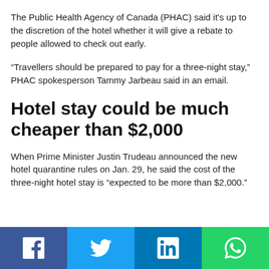The Public Health Agency of Canada (PHAC) said it's up to the discretion of the hotel whether it will give a rebate to people allowed to check out early.
“Travellers should be prepared to pay for a three-night stay,” PHAC spokesperson Tammy Jarbeau said in an email.
Hotel stay could be much cheaper than $2,000
When Prime Minister Justin Trudeau announced the new hotel quarantine rules on Jan. 29, he said the cost of the three-night hotel stay is “expected to be more than $2,000.”
[Figure (infographic): Social media share bar with four buttons: Facebook (blue), Twitter (cyan), LinkedIn (dark blue), WhatsApp (green), each showing respective icon in white.]